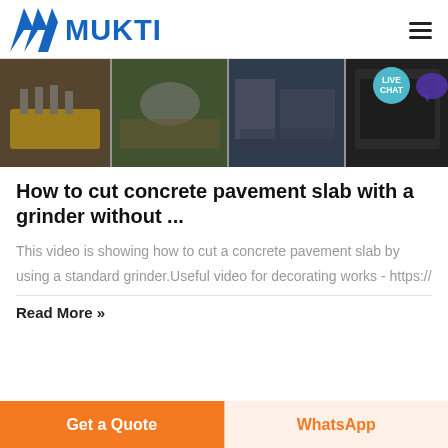MUKTI
[Figure (photo): Banner strip showing industrial construction equipment and machinery images including yellow concrete cutting/grinding equipment, metal fabrication, and heavy construction scenes. Live Chat bubble in top right corner.]
How to cut concrete pavement slab with a grinder without ...
This video is showing how to cut a concrete pavement slab by using a standard grinder.Useful video for decorating works - https://
Read More »